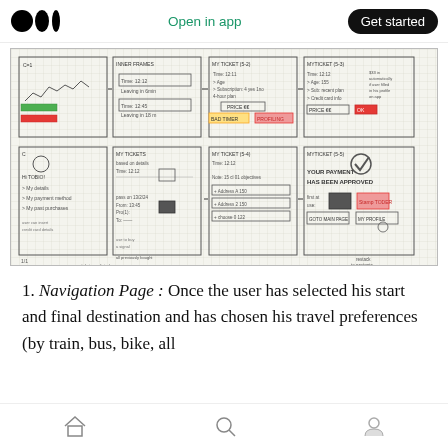Medium logo | Open in app | Get started
[Figure (illustration): Hand-drawn UX wireframe/flowchart sketch on graph paper showing multiple mobile app screens including Navigation Page, My Tickets, Ticket details, and payment confirmation screens with arrows indicating user flow. Screens include labels like 'MY TICKET', 'MY TICKETS', 'MY TICKET', 'MYTICKET', navigation elements, price fields, and subscription options.]
1. Navigation Page : Once the user has selected his start and final destination and has chosen his travel preferences (by train, bus, bike, all
Home | Search | Profile